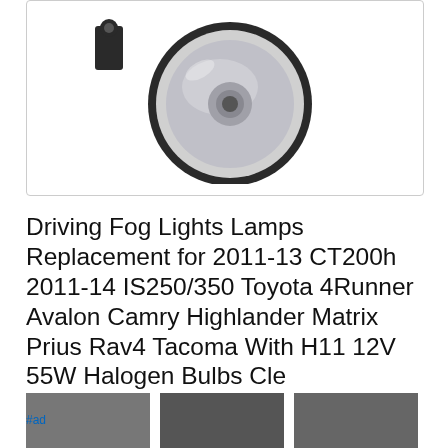[Figure (photo): Fog light / driving lamp product photo showing a round clear-lens fog light assembly with black plastic housing and mounting bracket, on white background]
Driving Fog Lights Lamps Replacement for 2011-13 CT200h 2011-14 IS250/350 Toyota 4Runner Avalon Camry Highlander Matrix Prius Rav4 Tacoma With H11 12V 55W Halogen Bulbs Cle...
As an Amazon Associate I earn from qualifying purchases. This website uses the only necessary cookies to ensure you get the best experience on our website. More information
#ad